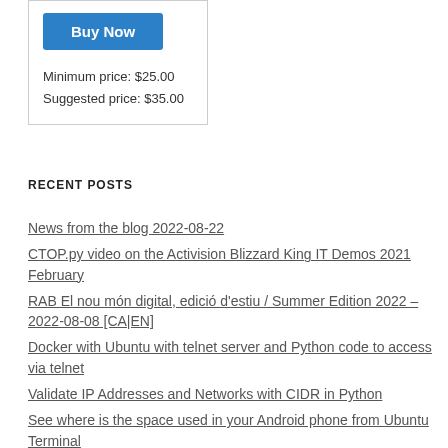[Figure (other): Buy Now button (blue) inside a bordered widget box]
Minimum price: $25.00
Suggested price: $35.00
RECENT POSTS
News from the blog 2022-08-22
CTOP.py video on the Activision Blizzard King IT Demos 2021 February
RAB El nou món digital, edició d'estiu / Summer Edition 2022 – 2022-08-08 [CA|EN]
Docker with Ubuntu with telnet server and Python code to access via telnet
Validate IP Addresses and Networks with CIDR in Python
See where is the space used in your Android phone from Ubuntu Terminal